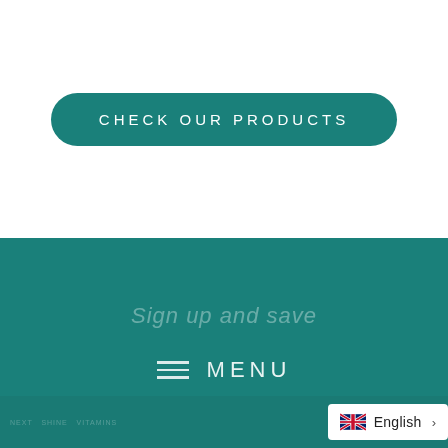[Figure (screenshot): Teal rounded button with white uppercase text: CHECK OUR PRODUCTS]
Sign up and save
MENU
[Figure (illustration): UK flag icon with 'English' label and right arrow in white badge]